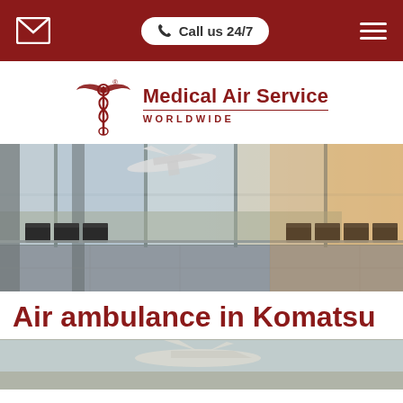Call us 24/7
[Figure (logo): Medical Air Service Worldwide logo with caduceus symbol]
[Figure (photo): Airport terminal interior with seating and airplane taking off visible through large windows]
Air ambulance in Komatsu
[Figure (photo): Partial view of an aircraft on the ground, cropped at bottom of page]